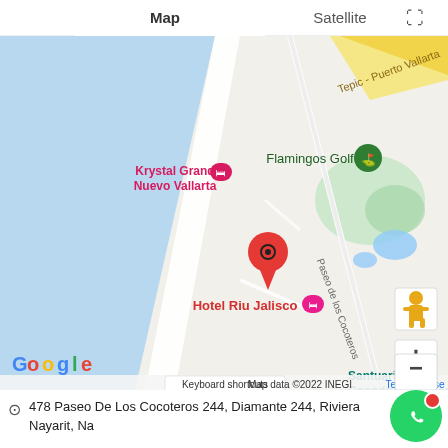[Figure (map): Google Maps screenshot showing Hotel Riu Jalisco in Nuevo Vallarta, Mexico. The map shows the coastline with ocean to the left (light blue), land to the right with roads and green areas including Flamingos Golf. A red location pin marks Hotel Riu Jalisco in the center. Pink hotel markers show Krystal Grand Nuevo Vallarta to the upper left and another hotel to the right of Riu Jalisco. A green marker shows Flamingos Golf upper right. Teal text labels Santuario De Cocodrilos El Cora to the lower right. A road labeled Paseo de los Cocoteros runs diagonally. Map/Satellite toggle at top, Google logo bottom left, zoom controls and street view pegman on the right side. Map data 2022 INEGI attribution at bottom.]
478 Paseo De Los Cocoteros 244, Diamante 244, Riviera Nayarit, Na